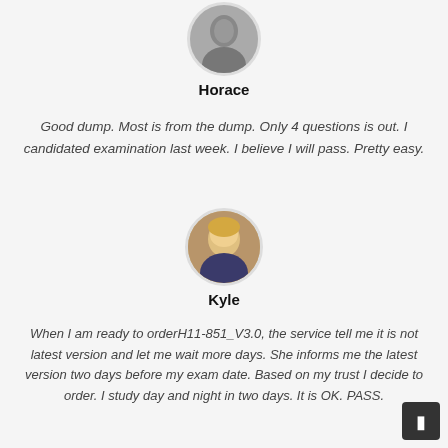[Figure (photo): Circular avatar photo of Horace, black and white photo of a person]
Horace
Good dump. Most is from the dump. Only 4 questions is out. I candidated examination last week. I believe I will pass. Pretty easy.
[Figure (photo): Circular avatar photo of Kyle, color photo of a young blonde person]
Kyle
When I am ready to orderH11-851_V3.0, the service tell me it is not latest version and let me wait more days. She informs me the latest version two days before my exam date. Based on my trust I decide to order. I study day and night in two days. It is OK. PASS.